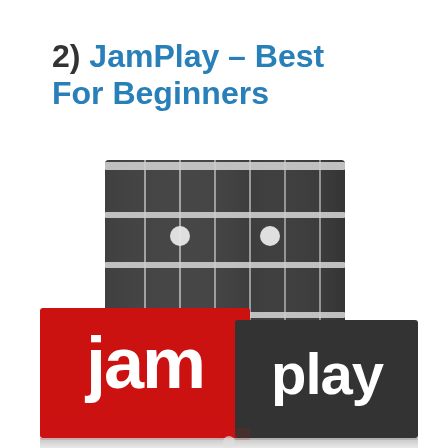2) JamPlay – Best For Beginners
[Figure (logo): JamPlay logo with guitar fretboard background. A black guitar fretboard with silver frets and strings is shown in the upper portion. Below it, the JamPlay logo split into two parts: 'jam' on a red rectangle and 'play' on a dark grey rectangle. A reflection of the logo appears at the bottom on a light grey surface.]